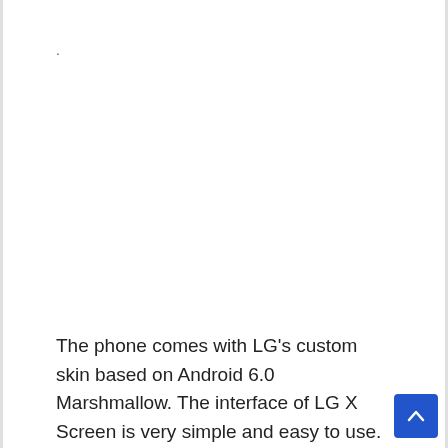.
The phone comes with LG's custom skin based on Android 6.0 Marshmallow. The interface of LG X Screen is very simple and easy to use. We didn't have trouble finding any of the